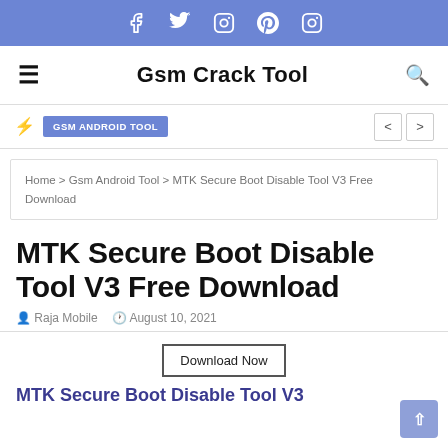Social media icons: Facebook, Twitter, Instagram, Pinterest, Instagram
Gsm Crack Tool
GSM ANDROID TOOL
Home > Gsm Android Tool > MTK Secure Boot Disable Tool V3 Free Download
MTK Secure Boot Disable Tool V3 Free Download
Raja Mobile  August 10, 2021
Download Now
MTK Secure Boot Disable Tool V3